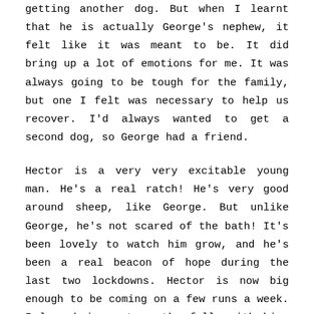getting another dog. But when I learnt that he is actually George's nephew, it felt like it was meant to be. It did bring up a lot of emotions for me. It was always going to be tough for the family, but one I felt was necessary to help us recover. I'd always wanted to get a second dog, so George had a friend.
Hector is a very very excitable young man. He's a real ratch! He's very good around sheep, like George. But unlike George, he's not scared of the bath! It's been lovely to watch him grow, and he's been a real beacon of hope during the last two lockdowns. Hector is now big enough to be coming on a few runs a week. I love being out on the fells with him. He's taken to sliding down the descents like a snake. Whilst he still has much